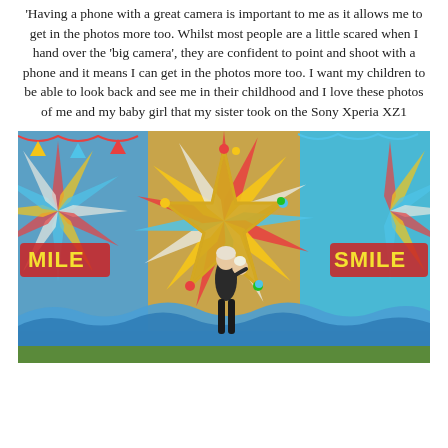'Having a phone with a great camera is important to me as it allows me to get in the photos more too.  Whilst most people are a little scared when I hand over the 'big camera', they are confident to point and shoot with a phone and it means I can get in the photos more too.  I want my children to be able to look back and see me in their childhood and I love these photos of me and my baby girl that my sister took on the Sony Xperia XZ1
[Figure (photo): A woman holding a baby standing in front of a colourful carnival/circus backdrop with a large star shape decorated with lights, and 'SMILE' text on both sides. The background features bright sunburst stripes in multiple colours.]
Additional text continues below the photo.